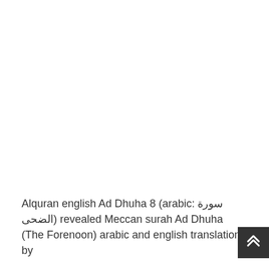Alquran english Ad Dhuha 8 (arabic: سورة الضحى) revealed Meccan surah Ad Dhuha (The Forenoon) arabic and english translation by